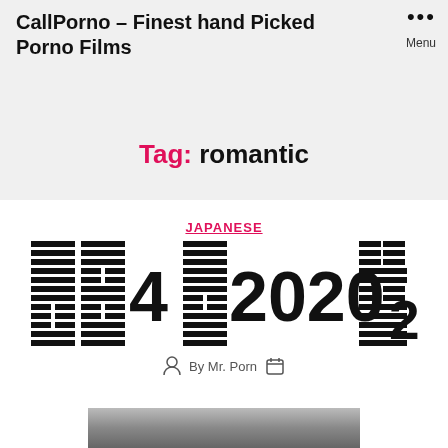CallPorno – Finest hand Picked Porno Films
Tag: romantic
JAPANESE
[Figure (other): Japanese post thumbnail title image with stylized Japanese characters and numbers 4, 2020, 2 in bold block style]
By Mr. Porn
[Figure (photo): Partial thumbnail photo at bottom of page]